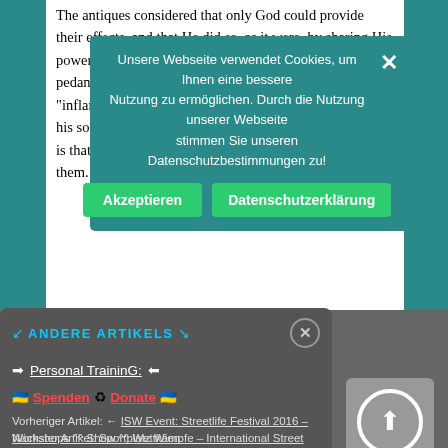The antiques considered that only God could provide their effects, and that He did so, as it were, by sharing His power with the fire. Sometimes, although in quite pedantic contexts, you can still read that someone is "inflamed" by a certain spirit or activity, that his soul is burning with a sort of euphoria whose goal is that other people end burning in the same fire like them.
Unsere Webseite verwendet Cookies, um Ihnen eine bessere Nutzung zu ermöglichen. Durch die Nutzung unserer Webseite stimmen Sie unseren Datenschutzbestimmungen zu!
Akzeptieren | Datenschutzerklärung
ANDERE ARTIKELS
Personal TraininG:
🇺🇦 Spenden 🌿 Donate 🇺🇦
Vorheriger Artikel: ← ISW Event: Streetlife Festival 2016 – Workshops ^^ Show ^^ Wettkämpfe – International Street Workout Vienna Austria <3 einfach GroßartiG
Nächster Artikel: Sportplatz Wien: